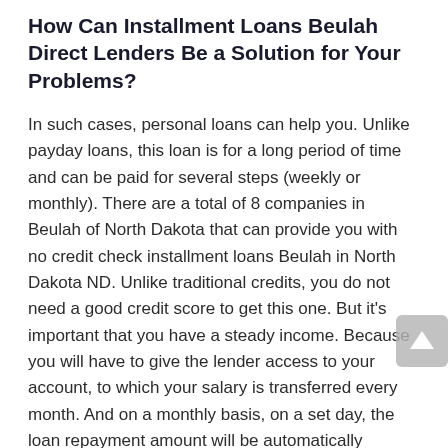How Can Installment Loans Beulah Direct Lenders Be a Solution for Your Problems?
In such cases, personal loans can help you. Unlike payday loans, this loan is for a long period of time and can be paid for several steps (weekly or monthly). There are a total of 8 companies in Beulah of North Dakota that can provide you with no credit check installment loans Beulah in North Dakota ND. Unlike traditional credits, you do not need a good credit score to get this one. But it's important that you have a steady income. Because you will have to give the lender access to your account, to which your salary is transferred every month. And on a monthly basis, on a set day, the loan repayment amount will be automatically deducted from that account.
Installment loans Beulah online are very convenient, but at the same time, very expensive. The interest rate on such